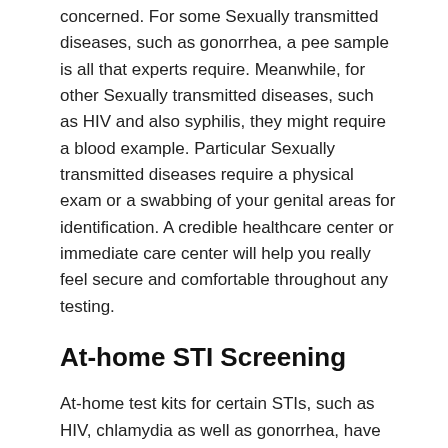concerned. For some Sexually transmitted diseases, such as gonorrhea, a pee sample is all that experts require. Meanwhile, for other Sexually transmitted diseases, such as HIV and also syphilis, they might require a blood example. Particular Sexually transmitted diseases require a physical exam or a swabbing of your genital areas for identification. A credible healthcare center or immediate care center will help you really feel secure and comfortable throughout any testing.
At-home STI Screening
At-home test kits for certain STIs, such as HIV, chlamydia as well as gonorrhea, have actually been gaining acceptance and also popularity. For house STI testing, you collect an urine